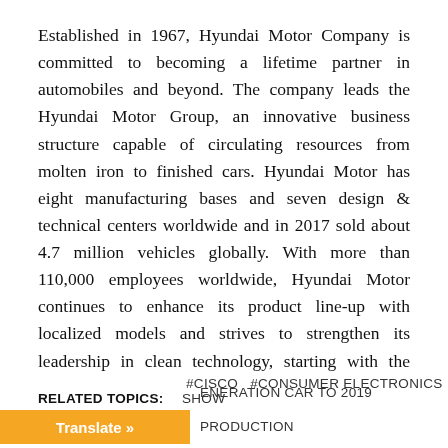Established in 1967, Hyundai Motor Company is committed to becoming a lifetime partner in automobiles and beyond. The company leads the Hyundai Motor Group, an innovative business structure capable of circulating resources from molten iron to finished cars. Hyundai Motor has eight manufacturing bases and seven design & technical centers worldwide and in 2017 sold about 4.7 million vehicles globally. With more than 110,000 employees worldwide, Hyundai Motor continues to enhance its product line-up with localized models and strives to strengthen its leadership in clean technology, starting with the world's first mass-produced hydrogen-powered vehicle, ix35 Fuel Cell and IONIQ, the world's first model with three electrified powertrains in a single body type.
RELATED TOPICS: #CISCO #CONSUMER ELECTRONICS SHOW #NEXT GENERATION CAR TO 2019 PRODUCTION